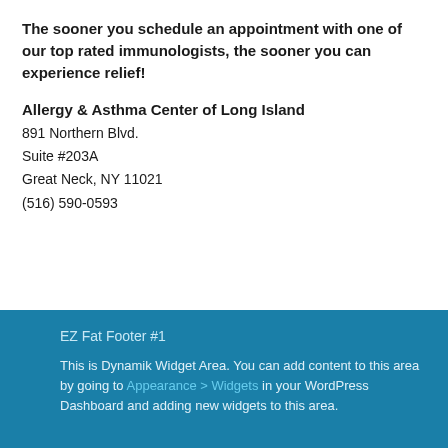The sooner you schedule an appointment with one of our top rated immunologists, the sooner you can experience relief!
Allergy & Asthma Center of Long Island
891 Northern Blvd.
Suite #203A
Great Neck, NY 11021
(516) 590-0593
EZ Fat Footer #1
This is Dynamik Widget Area. You can add content to this area by going to Appearance > Widgets in your WordPress Dashboard and adding new widgets to this area.